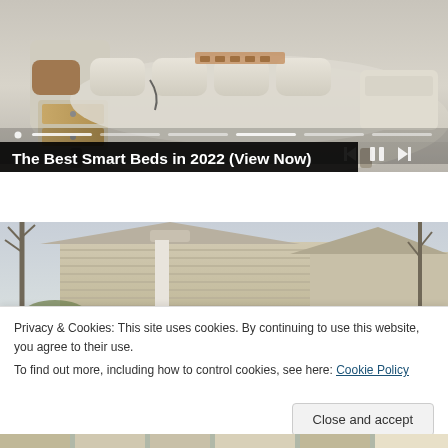[Figure (photo): Advertisement banner showing a smart bed with storage drawers, upholstered in beige leather, with remote controls and side table attachments. Media player controls and progress bar overlaid at bottom.]
The Best Smart Beds in 2022 (View Now)
[Figure (photo): Photo of suburban houses with beige/tan siding and bare winter trees against a gray sky.]
Privacy & Cookies: This site uses cookies. By continuing to use this website, you agree to their use.
To find out more, including how to control cookies, see here: Cookie Policy
[Figure (photo): Partial view of house exterior at bottom of page, cropped off.]